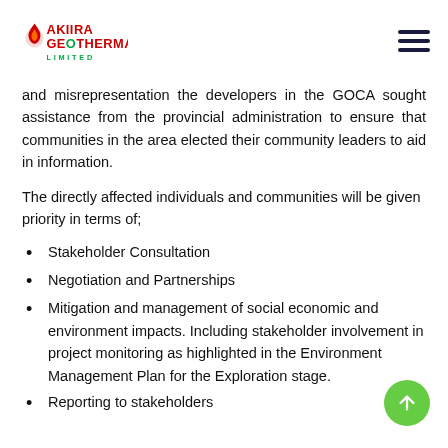AKIIRA GEOTHERMAL LIMITED
and misrepresentation the developers in the GOCA sought assistance from the provincial administration to ensure that communities in the area elected their community leaders to aid in information.
The directly affected individuals and communities will be given priority in terms of;
Stakeholder Consultation
Negotiation and Partnerships
Mitigation and management of social economic and environment impacts. Including stakeholder involvement in project monitoring as highlighted in the Environment Management Plan for the Exploration stage.
Reporting to stakeholders